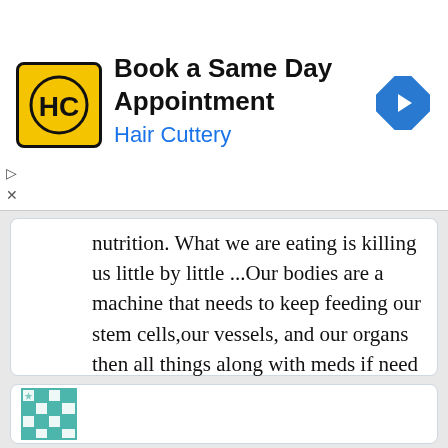[Figure (screenshot): Hair Cuttery advertisement banner with yellow logo, 'Book a Same Day Appointment' headline, and blue navigation arrow icon]
nutrition. What we are eating is killing us little by little ...Our bodies are a machine that needs to keep feeding our stem cells,our vessels, and our organs then all things along with meds if need be, our bodies work properly......Nutrition needs to be taught way more in medical school then 4 months. You know thr old saying you are what you eat.
[Figure (illustration): Teal and white quilt pattern icon]